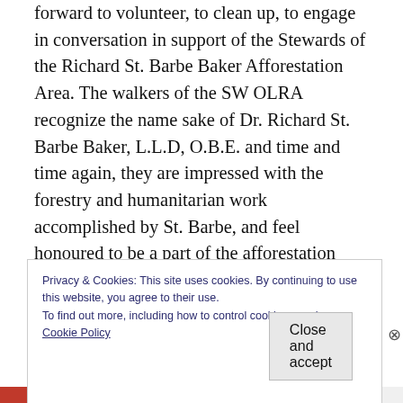forward to volunteer, to clean up, to engage in conversation in support of the Stewards of the Richard St. Barbe Baker Afforestation Area. The walkers of the SW OLRA recognize the name sake of Dr. Richard St. Barbe Baker, L.L.D, O.B.E. and time and time again, they are impressed with the forestry and humanitarian work accomplished by St. Barbe, and feel honoured to be a part of the afforestation experience with a chance to view the diverse biodiversity of the area.
Privacy & Cookies: This site uses cookies. By continuing to use this website, you agree to their use.
To find out more, including how to control cookies, see here:
Cookie Policy
Close and accept